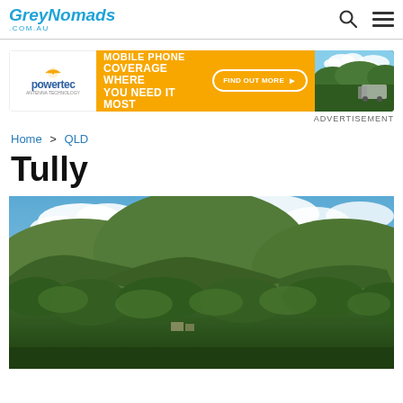GreyNomads .COM.AU
[Figure (infographic): Powertec advertisement banner: Mobile Phone Coverage Where You Need It Most, with a photo of a 4WD and caravan in a forest setting]
ADVERTISEMENT
Home > QLD
Tully
[Figure (photo): Aerial photo of Tully rainforest landscape with green hills and blue sky with white clouds]